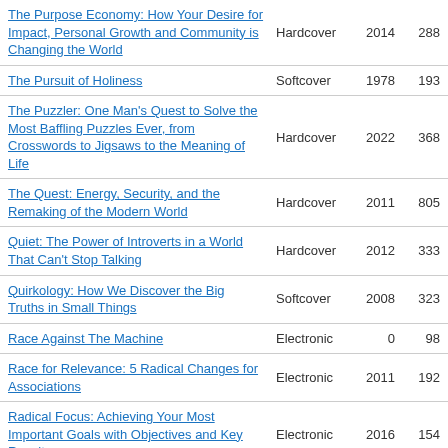| Title | Format | Year | Pages |
| --- | --- | --- | --- |
| The Purpose Economy: How Your Desire for Impact, Personal Growth and Community is Changing the World | Hardcover | 2014 | 288 |
| The Pursuit of Holiness | Softcover | 1978 | 193 |
| The Puzzler: One Man's Quest to Solve the Most Baffling Puzzles Ever, from Crosswords to Jigsaws to the Meaning of Life | Hardcover | 2022 | 368 |
| The Quest: Energy, Security, and the Remaking of the Modern World | Hardcover | 2011 | 805 |
| Quiet: The Power of Introverts in a World That Can't Stop Talking | Hardcover | 2012 | 333 |
| Quirkology: How We Discover the Big Truths in Small Things | Softcover | 2008 | 323 |
| Race Against The Machine | Electronic | 0 | 98 |
| Race for Relevance: 5 Radical Changes for Associations | Electronic | 2011 | 192 |
| Radical Focus: Achieving Your Most Important Goals with Objectives and Key Results | Electronic | 2016 | 154 |
| A Random Walk Down Wall Street: The Time-Tested Strategy for Successful | Hardcover | 2019 | 432 |